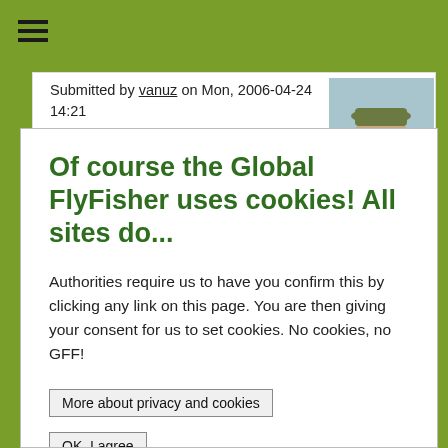☰ (hamburger menu icon)
Submitted by vanuz on Mon, 2006-04-24 14:21
happy to get it moving
Of course the Global FlyFisher uses cookies! All sites do...
Authorities require us to have you confirm this by clicking any link on this page. You are then giving your consent for us to set cookies. No cookies, no GFF!
More about privacy and cookies
OK, I agree